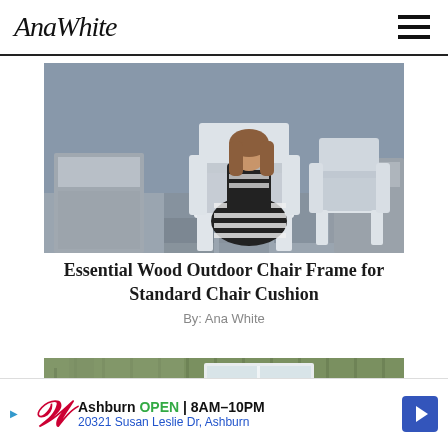AnaWhite
[Figure (photo): Woman sitting in a white wood outdoor chair with gray cushion on a patio, with a second empty matching chair beside her. Gray siding building in background.]
Essential Wood Outdoor Chair Frame for Standard Chair Cushion
By: Ana White
[Figure (photo): Partial view of an outdoor porch area with olive/sage green vertical board siding and white trim windows, cushions visible in lower portion.]
Ashburn OPEN 8AM–10PM 20321 Susan Leslie Dr, Ashburn